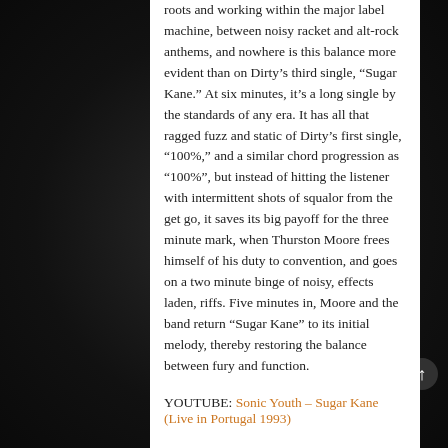roots and working within the major label machine, between noisy racket and alt-rock anthems, and nowhere is this balance more evident than on Dirty's third single, “Sugar Kane.” At six minutes, it’s a long single by the standards of any era. It has all that ragged fuzz and static of Dirty’s first single, “100%,” and a similar chord progression as “100%”, but instead of hitting the listener with intermittent shots of squalor from the get go, it saves its big payoff for the three minute mark, when Thurston Moore frees himself of his duty to convention, and goes on a two minute binge of noisy, effects laden, riffs. Five minutes in, Moore and the band return “Sugar Kane” to its initial melody, thereby restoring the balance between fury and function.
YOUTUBE: Sonic Youth – Sugar Kane (Live in Portugal 1993)